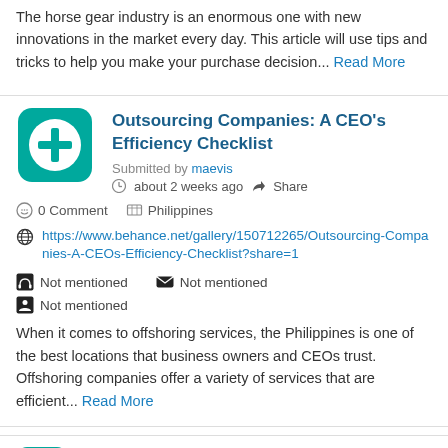The horse gear industry is an enormous one with new innovations in the market every day. This article will use tips and tricks to help you make your purchase decision... Read More
Outsourcing Companies: A CEO's Efficiency Checklist
Submitted by maevis
about 2 weeks ago  Share
0 Comment  Philippines
https://www.behance.net/gallery/150712265/Outsourcing-Companies-A-CEOs-Efficiency-Checklist?share=1
Not mentioned  Not mentioned
Not mentioned
When it comes to offshoring services, the Philippines is one of the best locations that business owners and CEOs trust. Offshoring companies offer a variety of services that are efficient... Read More